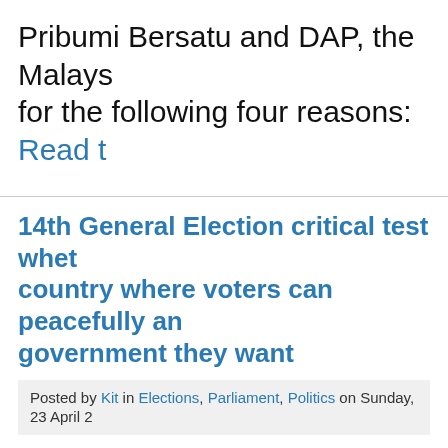Pribumi Bersatu and DAP, the Malays for the following four reasons: Read t
14th General Election critical test whet country where voters can peacefully an government they want
Posted by Kit in Elections, Parliament, Politics on Sunday, 23 April 2
This year, Malaysians celebrate the 60 anniversaries, and this is an importan successes and failures.